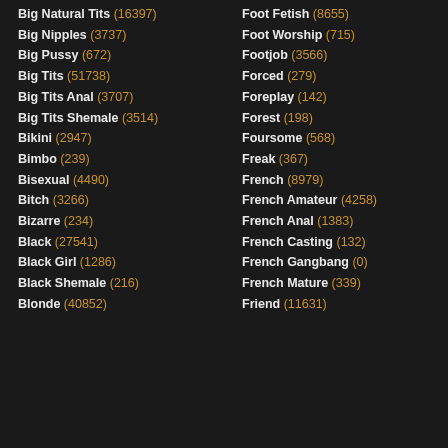Big Natural Tits (16397)
Big Nipples (3737)
Big Pussy (672)
Big Tits (51738)
Big Tits Anal (3707)
Big Tits Shemale (3514)
Bikini (2947)
Bimbo (239)
Bisexual (4490)
Bitch (3266)
Bizarre (234)
Black (27541)
Black Girl (1286)
Black Shemale (216)
Blonde (40852)
Foot Fetish (8655)
Foot Worship (715)
Footjob (3566)
Forced (279)
Foreplay (142)
Forest (198)
Foursome (568)
Freak (367)
French (8979)
French Amateur (4258)
French Anal (1383)
French Casting (132)
French Gangbang (0)
French Mature (339)
Friend (11631)